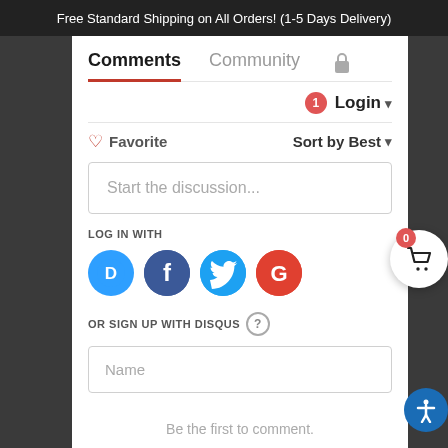Free Standard Shipping on All Orders! (1-5 Days Delivery)
Comments  Community  🔒
Login ▾
♡ Favorite   Sort by Best ▾
Start the discussion...
LOG IN WITH
[Figure (screenshot): Social login icons: Disqus (D), Facebook (f), Twitter bird, Google (G)]
OR SIGN UP WITH DISQUS ?
Name
Be the first to comment.